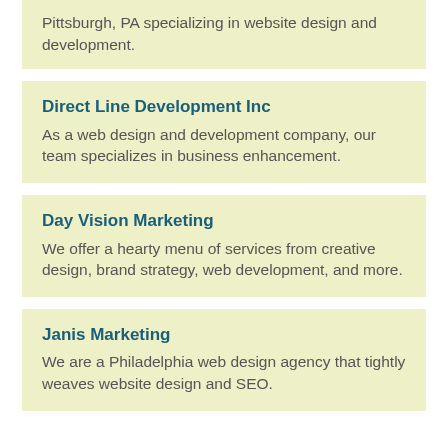Pittsburgh, PA specializing in website design and development.
Direct Line Development Inc
As a web design and development company, our team specializes in business enhancement.
Day Vision Marketing
We offer a hearty menu of services from creative design, brand strategy, web development, and more.
Janis Marketing
We are a Philadelphia web design agency that tightly weaves website design and SEO.